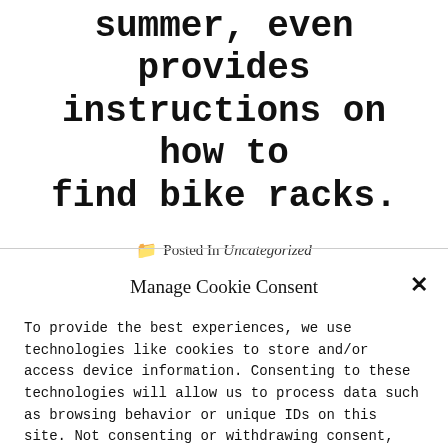summer, even provides instructions on how to find bike racks.
Posted In Uncategorized
Manage Cookie Consent
To provide the best experiences, we use technologies like cookies to store and/or access device information. Consenting to these technologies will allow us to process data such as browsing behavior or unique IDs on this site. Not consenting or withdrawing consent, may adversely affect certain features and functions.
Accept